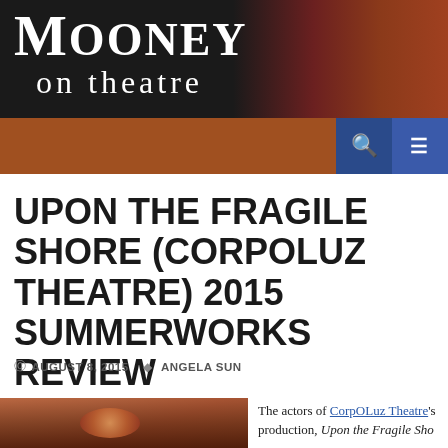Mooney on theatre
UPON THE FRAGILE SHORE (CORPOLUZ THEATRE) 2015 SUMMERWORKS REVIEW
© AUGUST 8, 2015  ♦ ANGELA SUN
[Figure (photo): Close-up photo showing hands or organic textured surface with an orange/coral colored starfish or sea creature detail]
The actors of CorpOLuz Theatre's production, Upon the Fragile Sho...